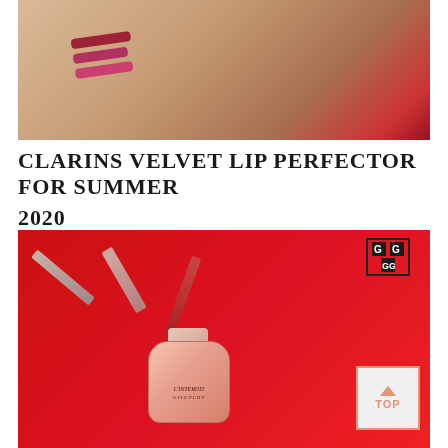[Figure (photo): Woman with lipstick color swatches on her wrist/arm, close-up beauty shot on beige/skin-tone background]
CLARINS VELVET LIP PERFECTOR FOR SUMMER 2020
[Figure (photo): Givenchy L'Interdit perfume bottle surrounded by lipstick tubes on a vibrant red background with the Givenchy logo visible. A 'TOP' navigation button is overlaid in the bottom right corner.]